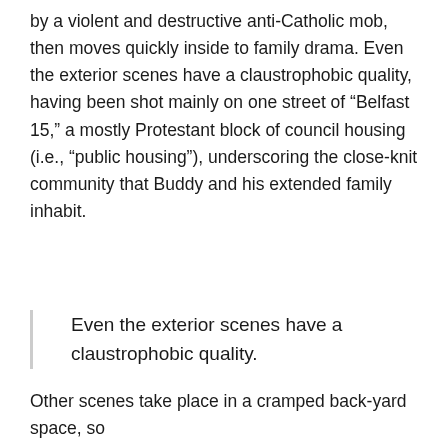by a violent and destructive anti-Catholic mob, then moves quickly inside to family drama. Even the exterior scenes have a claustrophobic quality, having been shot mainly on one street of “Belfast 15,” a mostly Protestant block of council housing (i.e., “public housing”), underscoring the close-knit community that Buddy and his extended family inhabit.
Even the exterior scenes have a claustrophobic quality.
Other scenes take place in a cramped back-yard space, so